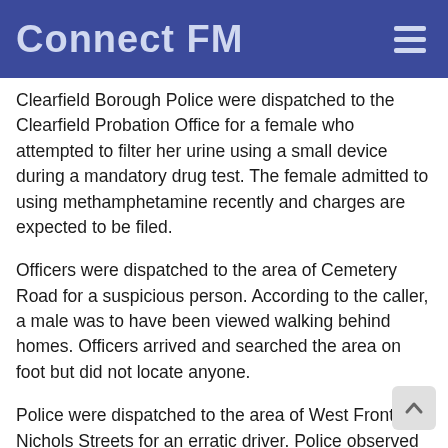Connect FM
Clearfield Borough Police were dispatched to the Clearfield Probation Office for a female who attempted to filter her urine using a small device during a mandatory drug test. The female admitted to using methamphetamine recently and charges are expected to be filed.
Officers were dispatched to the area of Cemetery Road for a suspicious person. According to the caller, a male was to have been viewed walking behind homes. Officers arrived and searched the area on foot but did not locate anyone.
Police were dispatched to the area of West Front and Nichols Streets for an erratic driver. Police observed surveillance footage from a business that had the car on camera. The incident is under further investigation.
Clearfield Borough Police were dispatched to a business on River Road for a report of a male refusing to wear a mask inside of the business. The male was to have engaged in a verbal